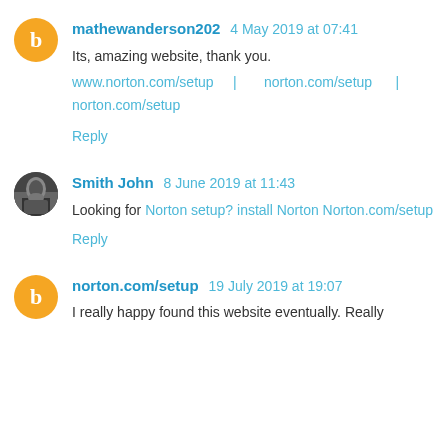mathewanderson202  4 May 2019 at 07:41
Its, amazing website, thank you.
www.norton.com/setup | norton.com/setup | norton.com/setup
Reply
Smith John  8 June 2019 at 11:43
Looking for Norton setup? install Norton Norton.com/setup
Reply
norton.com/setup  19 July 2019 at 19:07
I really happy found this website eventually. Really